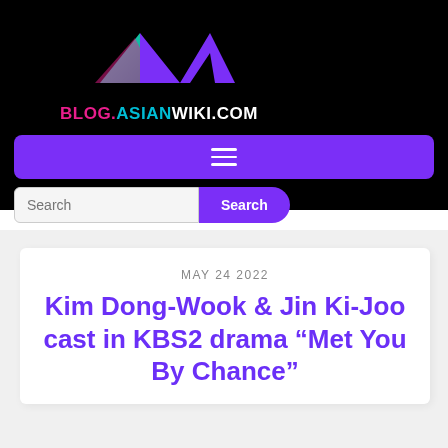[Figure (logo): blog.asianwiki.com logo with teal and purple mountain/arrow shapes and colored text]
BLOG.ASIANWIKI.COM
Navigation menu bar with hamburger icon
Search
MAY 24 2022
Kim Dong-Wook & Jin Ki-Joo cast in KBS2 drama “Met You By Chance”